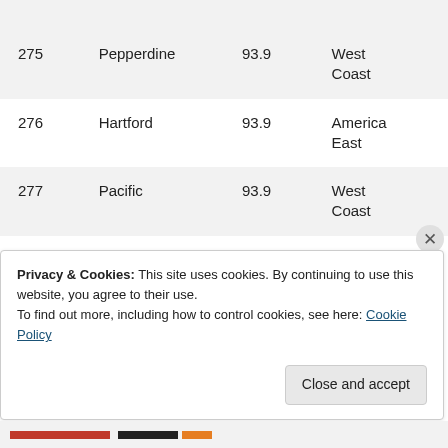| Rank | School | Score | Conference |
| --- | --- | --- | --- |
| 275 | Pepperdine | 93.9 | West Coast |
| 276 | Hartford | 93.9 | America East |
| 277 | Pacific | 93.9 | West Coast |
| 278 | Presbyterian | 93.8 | Big South |
Privacy & Cookies: This site uses cookies. By continuing to use this website, you agree to their use. To find out more, including how to control cookies, see here: Cookie Policy